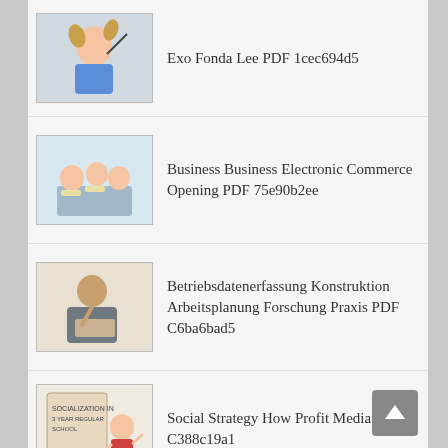Exo Fonda Lee PDF 1cec694d5
Business Business Electronic Commerce Opening PDF 75e90b2ee
Betriebsdatenerfassung Konstruktion Arbeitsplanung Forschung Praxis PDF C6ba6bad5
Social Strategy How Profit Media PDF C388c19a1
Multimediales Lernen Netz Leitfaden Entscheider PDF 95e7264ed
Refocus Cutting Edge Strategies Evolve Business PDF C116e0f50
Montage Von SchlA4uchen Industrierobotern IPA IAO PDF